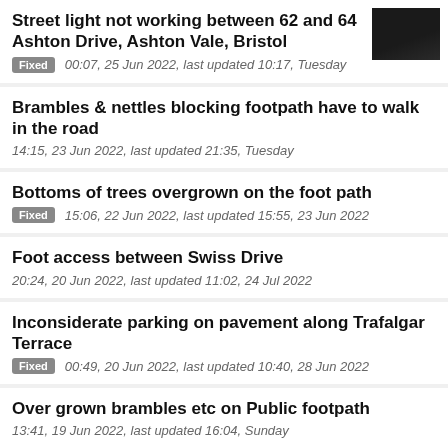Street light not working between 62 and 64 Ashton Drive, Ashton Vale, Bristol
Fixed  00:07, 25 Jun 2022, last updated 10:17, Tuesday
Brambles & nettles blocking footpath have to walk in the road
14:15, 23 Jun 2022, last updated 21:35, Tuesday
Bottoms of trees overgrown on the foot path
Fixed  15:06, 22 Jun 2022, last updated 15:55, 23 Jun 2022
Foot access between Swiss Drive
20:24, 20 Jun 2022, last updated 11:02, 24 Jul 2022
Inconsiderate parking on pavement along Trafalgar Terrace
Fixed  00:49, 20 Jun 2022, last updated 10:40, 28 Jun 2022
Over grown brambles etc on Public footpath
13:41, 19 Jun 2022, last updated 16:04, Sunday
Still waiting for new drain covers
14:51, 14 Jun 2022, last updated 16:03, 9 Aug 2022